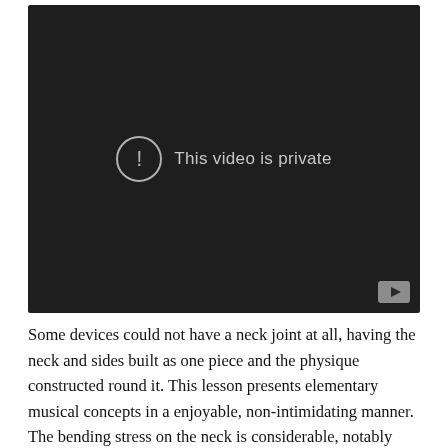[Figure (screenshot): A dark video player showing 'This video is private' message with an exclamation icon in a circle and a YouTube play button badge in the bottom right corner.]
Some devices could not have a neck joint at all, having the neck and sides built as one piece and the physique constructed round it. This lesson presents elementary musical concepts in a enjoyable, non-intimidating manner. The bending stress on the neck is considerable, notably when bearing string pressure and from Truss rods and the